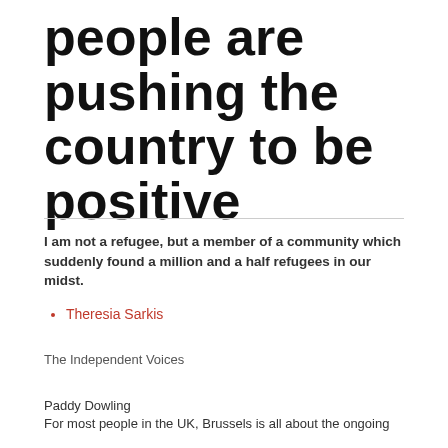people are pushing the country to be positive
I am not a refugee, but a member of a community which suddenly found a million and a half refugees in our midst.
Theresia Sarkis
The Independent Voices
Paddy Dowling
For most people in the UK, Brussels is all about the ongoing